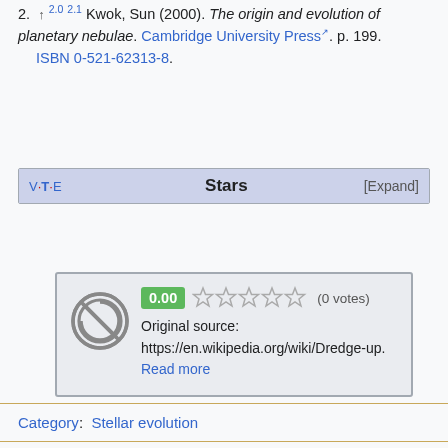2. ↑ 2.0 2.1 Kwok, Sun (2000). The origin and evolution of planetary nebulae. Cambridge University Press. p. 199. ISBN 0-521-62313-8.
| V · T · E | Stars | [Expand] |
| --- | --- | --- |
[Figure (other): Rating widget showing score 0.00, five empty stars, (0 votes), a public domain icon, and text: Original source: https://en.wikipedia.org/wiki/Dredge-up. Read more]
Category: Stellar evolution